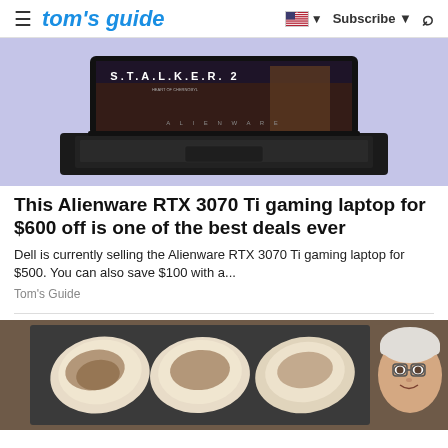tom's guide | Subscribe
[Figure (photo): Alienware gaming laptop with S.T.A.L.K.E.R. 2 game on screen, shown on purple/lavender background]
This Alienware RTX 3070 Ti gaming laptop for $600 off is one of the best deals ever
Dell is currently selling the Alienware RTX 3070 Ti gaming laptop for $500. You can also save $100 with a...
Tom's Guide
[Figure (photo): Food items (appear to be wraps or crepes with toppings/fillings) on a baking tray, with a smiling older man with white hair and glasses visible on the right side]